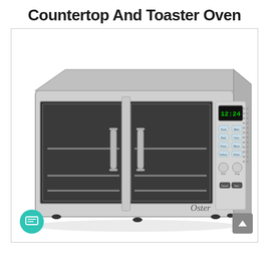Countertop And Toaster Oven
[Figure (photo): Stainless steel Oster countertop and toaster oven with French double doors, digital clock display showing 12:24, control panel with multiple function buttons, and ventilation slots on the right side.]